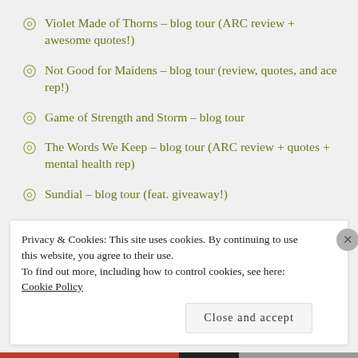Violet Made of Thorns – blog tour (ARC review + awesome quotes!)
Not Good for Maidens – blog tour (review, quotes, and ace rep!)
Game of Strength and Storm – blog tour
The Words We Keep – blog tour (ARC review + quotes + mental health rep)
Sundial – blog tour (feat. giveaway!)
Privacy & Cookies: This site uses cookies. By continuing to use this website, you agree to their use.
To find out more, including how to control cookies, see here:
Cookie Policy
Close and accept